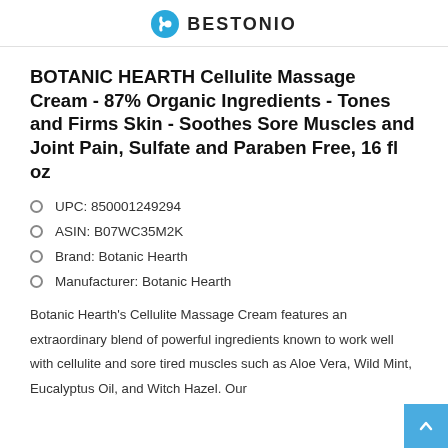BESTONIO
BOTANIC HEARTH Cellulite Massage Cream - 87% Organic Ingredients - Tones and Firms Skin - Soothes Sore Muscles and Joint Pain, Sulfate and Paraben Free, 16 fl oz
UPC: 850001249294
ASIN: B07WC35M2K
Brand: Botanic Hearth
Manufacturer: Botanic Hearth
Botanic Hearth's Cellulite Massage Cream features an extraordinary blend of powerful ingredients known to work well with cellulite and sore tired muscles such as Aloe Vera, Wild Mint, Eucalyptus Oil, and Witch Hazel. Our